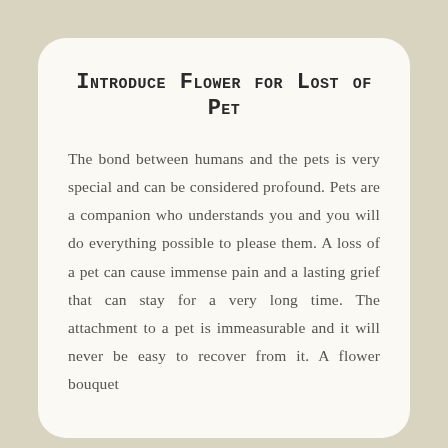Introduce Flower for Lost of Pet
The bond between humans and the pets is very special and can be considered profound. Pets are a companion who understands you and you will do everything possible to please them. A loss of a pet can cause immense pain and a lasting grief that can stay for a very long time. The attachment to a pet is immeasurable and it will never be easy to recover from it. A flower bouquet